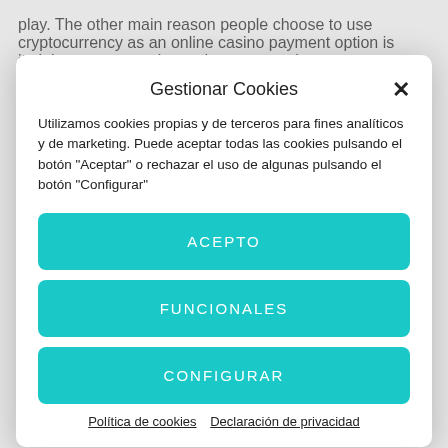play. The other main reason people choose to use cryptocurrency as an online casino payment option is its inherent anonymity, and consequently.
MORE ABOUT LEGAL ONLINE
Gestionar Cookies
Utilizamos cookies propias y de terceros para fines analíticos y de marketing. Puede aceptar todas las cookies pulsando el botón "Aceptar" o rechazar el uso de algunas pulsando el botón "Configurar"
ACEPTO
FUNCIONALES
CONFIGURAR
Política de cookies   Declaración de privacidad